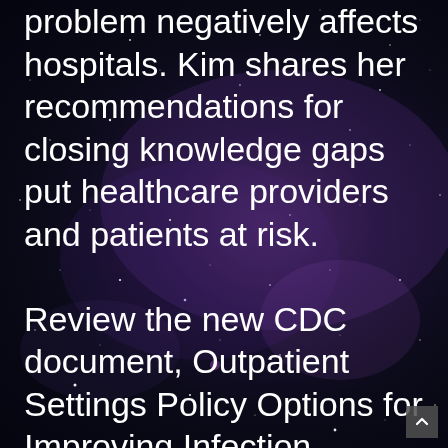problem negatively affects hospitals. Kim shares her recommendations for closing knowledge gaps put healthcare providers and patients at risk. Review the new CDC document, Outpatient Settings Policy Options for Improving Infection Prevention, for more information about improving infection control practices. Safe Healthcare Blog, how to get cl...